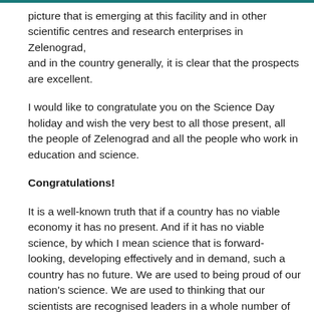picture that is emerging at this facility and in other scientific centres and research enterprises in Zelenograd, and in the country generally, it is clear that the prospects are excellent.
I would like to congratulate you on the Science Day holiday and wish the very best to all those present, all the people of Zelenograd and all the people who work in education and science.
Congratulations!
It is a well-known truth that if a country has no viable economy it has no present. And if it has no viable science, by which I mean science that is forward-looking, developing effectively and in demand, such a country has no future. We are used to being proud of our nation's science. We are used to thinking that our scientists are recognised leaders in a whole number of areas of world science. That is, of course, true.